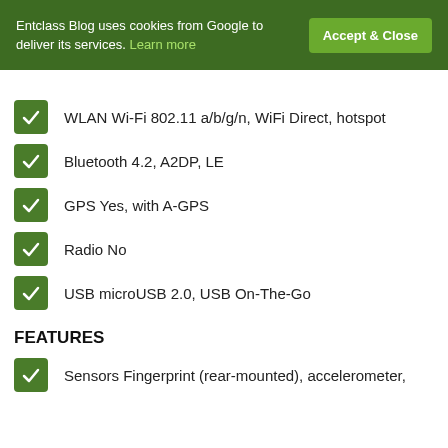Entclass Blog uses cookies from Google to deliver its services. Learn more
Accept & Close
WLAN Wi-Fi 802.11 a/b/g/n, WiFi Direct, hotspot
Bluetooth 4.2, A2DP, LE
GPS Yes, with A-GPS
Radio No
USB microUSB 2.0, USB On-The-Go
FEATURES
Sensors Fingerprint (rear-mounted), accelerometer,